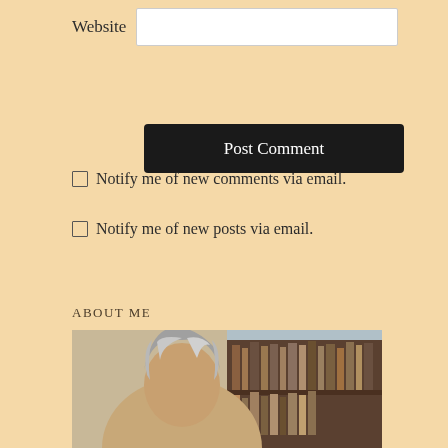Website
Post Comment
Notify me of new comments via email.
Notify me of new posts via email.
ABOUT ME
[Figure (photo): Photo of a woman with gray-streaked long hair in front of a bookshelf]